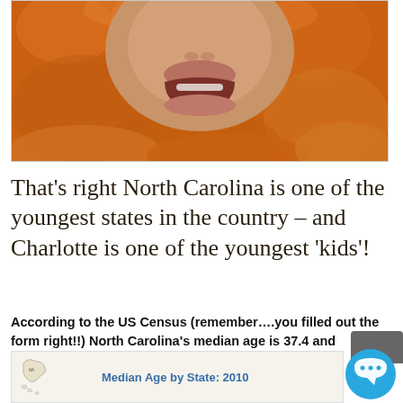[Figure (photo): Close-up photo of a baby's smiling face surrounded by orange fuzzy fabric/blanket. Only the lower half of the face is visible showing the mouth and chin area.]
That’s right North Carolina is one of the youngest states in the country – and Charlotte is one of the youngest ‘kids’!
According to the US Census (remember….you filled out the form right!!) North Carolina’s median age is 37.4 and Charlotte is 33.2…a baby!
[Figure (map): Map titled 'Median Age by State: 2010' showing US states with Alaska visible on left side.]